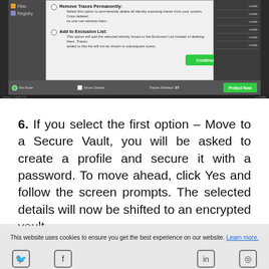[Figure (screenshot): Screenshot of a privacy/identity protection software dialog showing options: Remove Traces Permanently and Add to Exclusion List, with a Continue button, Re-Scan and Protect Now buttons at the bottom, showing 37 Traces Marked. Version 2.2.1000.2715 shown at bottom.]
6. If you select the first option – Move to a Secure Vault, you will be asked to create a profile and secure it with a password. To move ahead, click Yes and follow the screen prompts. The selected details will now be shifted to an encrypted vault.
This website uses cookies to ensure you get the best experience on our website. Learn more.